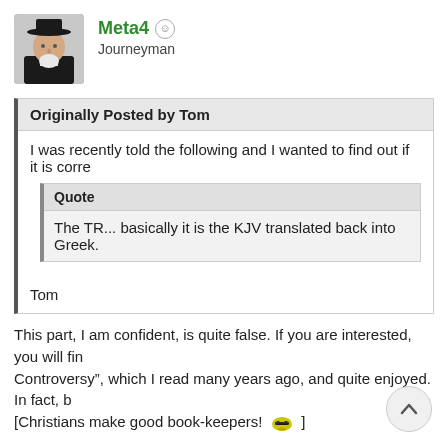[Figure (photo): Avatar photo of user Meta4, showing an older man wearing a black hat and clerical outfit]
Meta4 ☺
Journeyman
Originally Posted by Tom
I was recently told the following and I wanted to find out if it is corre...
Quote
The TR... basically it is the KJV translated back into Greek.
Tom
This part, I am confident, is quite false. If you are interested, you will fin... Controversy", which I read many years ago, and quite enjoyed. In fact, b... [Christians make good book-keepers! 😎 ]